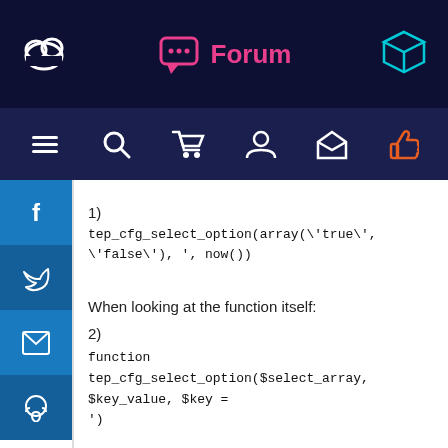Forum
1)
tep_cfg_select_option(array(\'true\', \'false\'), \', now())
When looking at the function itself:
2)
function tep_cfg_select_option($select_array, $key_value, $key = '')